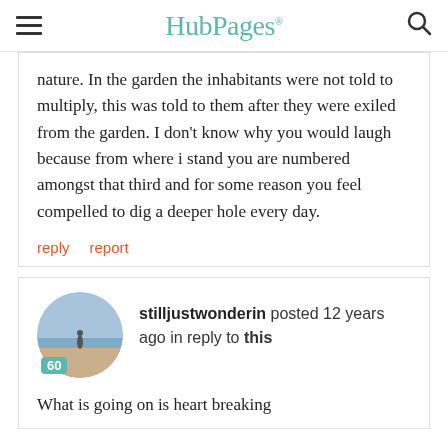HubPages
nature. In the garden the inhabitants were not told to multiply, this was told to them after they were exiled from the garden. I don't know why you would laugh because from where i stand you are numbered amongst that third and for some reason you feel compelled to dig a deeper hole every day.
reply   report
stilljustwonderin posted 12 years ago in reply to this
What is going on is heart breaking